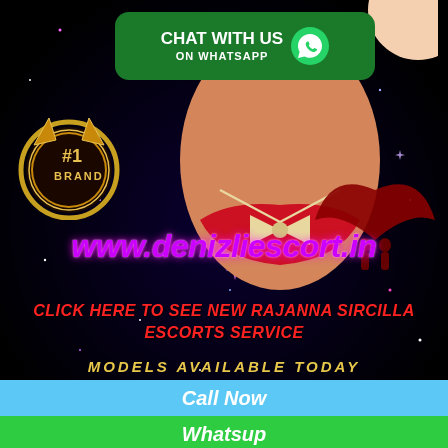[Figure (infographic): Dark starfield background with scattered colorful star sparkles]
[Figure (infographic): Green rounded rectangle WhatsApp chat banner with phone icon reading CHAT WITH US ON WHATSAPP]
[Figure (illustration): Gold #1 BRAND circular badge/medal on left side]
[Figure (illustration): Illustrated female figure in red bikini with bow tie in center]
[Figure (illustration): Red angel wings silhouette with two figures on right side]
[Figure (illustration): Partial moon/circle in top right corner]
www.denizliescort.in
CLICK HERE TO SEE NEW RAJANNA SIRCILLA ESCORTS SERVICE
MODELS AVAILABLE TODAY
Call Now
Whatsup